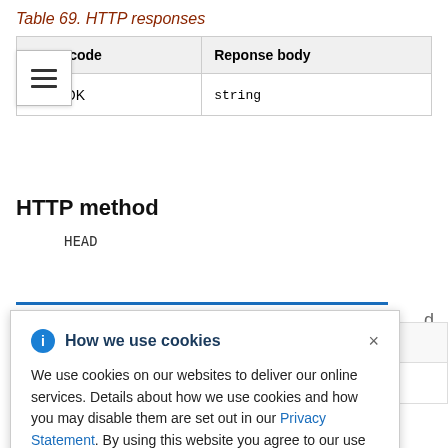Table 69. HTTP responses
| HTTP code | Reponse body |
| --- | --- |
| 200 - OK | string |
HTTP method
HEAD
[Figure (screenshot): Cookie consent dialog overlay with info icon, title 'How we use cookies', close button, and body text about cookie usage with a Privacy Statement link.]